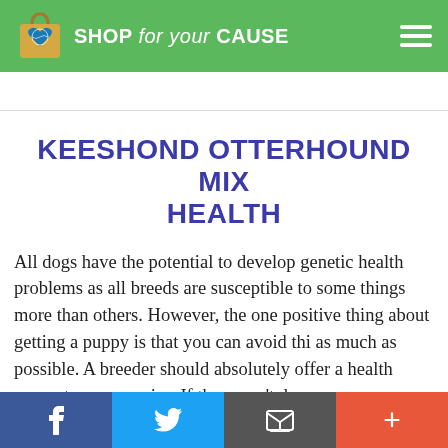SHOP for your CAUSE
KEESHOND OTTERHOUND MIX HEALTH
All dogs have the potential to develop genetic health problems as all breeds are susceptible to some things more than others. However, the one positive thing about getting a puppy is that you can avoid this as much as possible. A breeder should absolutely offer a health guarantee on puppies. If they won't do
f  Twitter  Email  +